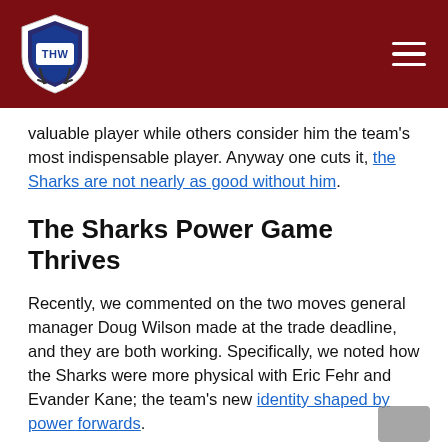THW (The Hockey Writers) - website header with logo and hamburger menu
valuable player while others consider him the team's most indispensable player. Anyway one cuts it, the Sharks are not nearly as good without him.
The Sharks Power Game Thrives
Recently, we commented on the two moves general manager Doug Wilson made at the trade deadline, and they are both working. Specifically, we noted how the Sharks were more physical with Eric Fehr and Evander Kane; the team's new identity shaped by power forwards.
The games against the Edmonton Oilers and Calgary Flames illustrated this. Against Edmonton, it was power forward